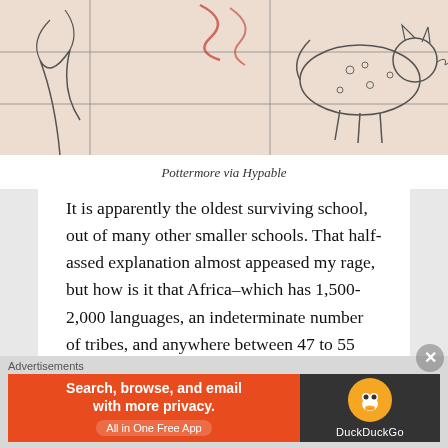[Figure (illustration): Illustrated map or artwork showing mythical creatures including what appears to be a leopard or large cat and other fantastical animals on a grid/map background with warm beige tones and red accents]
Pottermore via Hypable
It is apparently the oldest surviving school, out of many other smaller schools. That half-assed explanation almost appeased my rage, but how is it that Africa–which has 1,500-2,000 languages, an indeterminate number of tribes, and anywhere between 47 to 55 countries depending on whom you ask–has only one school of magic, which purportedly takes in students from all over the continent? And
Advertisements
[Figure (screenshot): DuckDuckGo advertisement banner: orange left section reads 'Search, browse, and email with more privacy. All in One Free App', dark right section shows DuckDuckGo logo duck icon]